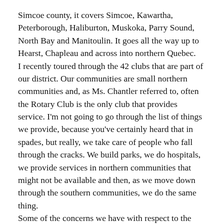Simcoe county, it covers Simcoe, Kawartha, Peterborough, Haliburton, Muskoka, Parry Sound, North Bay and Manitoulin. It goes all the way up to Hearst, Chapleau and across into northern Quebec.
I recently toured through the 42 clubs that are part of our district. Our communities are small northern communities and, as Ms. Chantler referred to, often the Rotary Club is the only club that provides service. I'm not going to go through the list of things we provide, because you've certainly heard that in spades, but really, we take care of people who fall through the cracks. We build parks, we do hospitals, we provide services in northern communities that might not be available and then, as we move down through the southern communities, we do the same thing.
Some of the concerns we have with respect to the way the government deals with service clubs—I'm a land-use planner so I certainly understand regulation. I live in it all the time, but some of the regulations have caused major